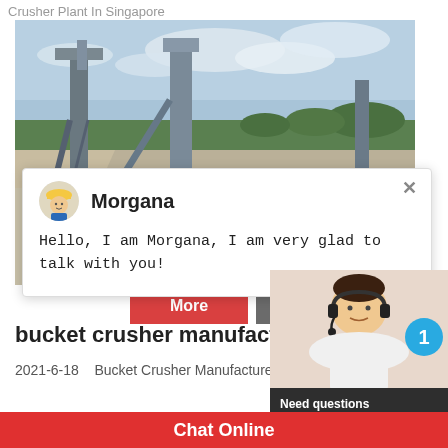Crusher Plant In Singapore
[Figure (photo): Aerial/ground-level photo of an industrial crusher plant with large machinery, conveyor structures, and sandy open quarry area under cloudy sky]
Morgana
Hello, I am Morgana, I am very glad to talk with you!
More    Online C
bucket crusher manufacturers uae in
2021-6-18    Bucket Crusher Manufacturer In
[Figure (photo): Customer service representative (woman with headset) photo with blue notification badge showing '1', and dark panel reading 'Need questions & suggestion?' with a red 'Chat Now' button]
Chat Online